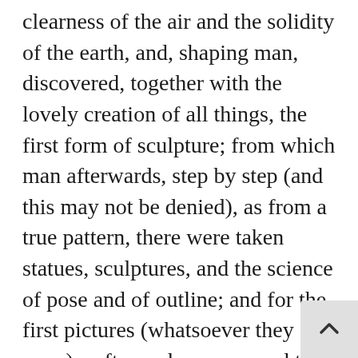clearness of the air and the solidity of the earth, and, shaping man, discovered, together with the lovely creation of all things, the first form of sculpture; from which man afterwards, step by step (and this may not be denied), as from a true pattern, there were taken statues, sculptures, and the science of pose and of outline; and for the first pictures (whatsoever they were), softness, harmony, and the concord in discord that comes from light and shade. Thus, then, the first model whence there issued the first image of man was a lump of clay, and not without reason, seeing that the Divine Architect of time and of nature, being Himself most perfect, wished to show in the imperfection of the material the way to add and to take away; in the same manner wherein the good sculptors and painters are wont to work, who, adding and taking away in their models, bring their imperfect sketches to that final perfection